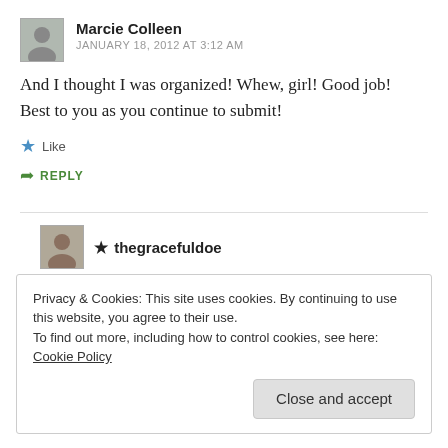Marcie Colleen
JANUARY 18, 2012 AT 3:12 AM
And I thought I was organized! Whew, girl! Good job! Best to you as you continue to submit!
Like
REPLY
★ thegracefuldoe
Privacy & Cookies: This site uses cookies. By continuing to use this website, you agree to their use.
To find out more, including how to control cookies, see here: Cookie Policy
Close and accept